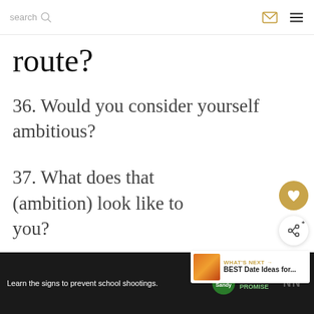search
route?
36. Would you consider yourself ambitious?
37. What does that (ambition) look like to you?
[Figure (other): Advertisement banner: Learn the signs to prevent school shootings. Sandy Hook Promise logo. Dark background.]